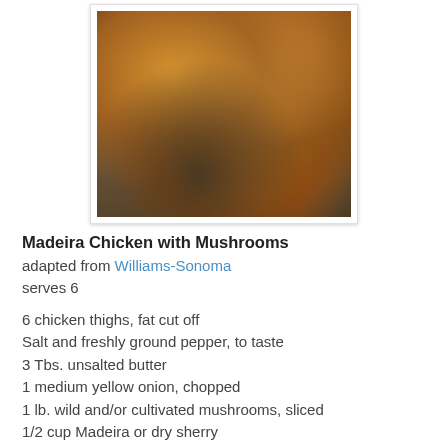[Figure (photo): A baking dish with golden-brown roasted chicken thighs with mushrooms and herbs, in a creamy sauce]
Madeira Chicken with Mushrooms
adapted from Williams-Sonoma
serves 6
6 chicken thighs, fat cut off
Salt and freshly ground pepper, to taste
3 Tbs. unsalted butter
1 medium yellow onion, chopped
1 lb. wild and/or cultivated mushrooms, sliced
1/2 cup Madeira or dry sherry